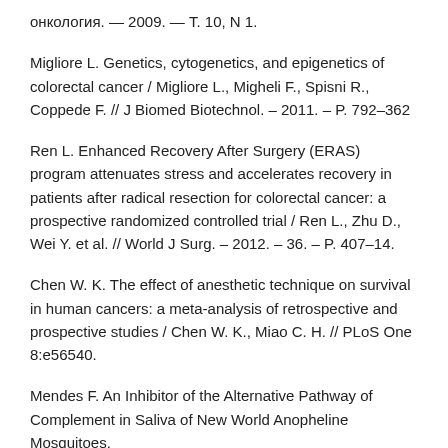онкология. — 2009. — Т. 10, N 1.
Migliore L. Genetics, cytogenetics, and epigenetics of colorectal cancer / Migliore L., Migheli F., Spisni R., Coppede F. // J Biomed Biotechnol. – 2011. – P. 792–362
Ren L. Enhanced Recovery After Surgery (ERAS) program attenuates stress and accelerates recovery in patients after radical resection for colorectal cancer: a prospective randomized controlled trial / Ren L., Zhu D., Wei Y. et al. // World J Surg. – 2012. – 36. – P. 407–14.
Chen W. K. The effect of anesthetic technique on survival in human cancers: a meta-analysis of retrospective and prospective studies / Chen W. K., Miao C. H. // PLoS One 8:e56540.
Mendes F. An Inhibitor of the Alternative Pathway of Complement in Saliva of New World Anopheline Mosquitoes.